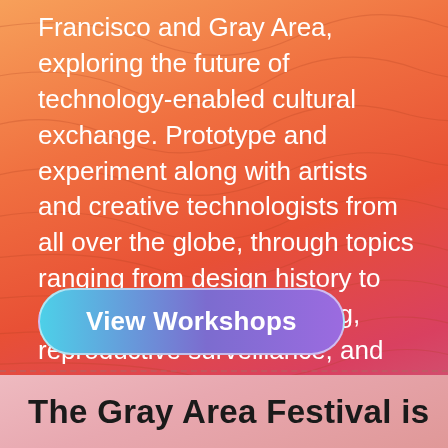Francisco and Gray Area, exploring the future of technology-enabled cultural exchange. Prototype and experiment along with artists and creative technologists from all over the globe, through topics ranging from design history to decentralized livestreaming, reproductive surveillance, and Afro-Futurist worldbuilding.
[Figure (other): A button with gradient background (blue to purple) with rounded pill shape and white border, labeled 'View Workshops']
The Gray Area Festival is